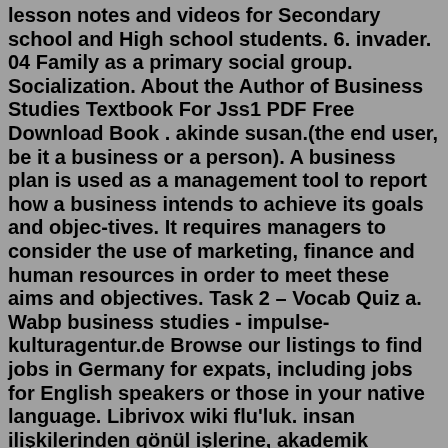lesson notes and videos for Secondary school and High school students. 6. invader. 04 Family as a primary social group. Socialization. About the Author of Business Studies Textbook For Jss1 PDF Free Download Book . akinde susan.(the end user, be it a business or a person). A business plan is used as a management tool to report how a business intends to achieve its goals and objec-tives. It requires managers to consider the use of marketing, finance and human resources in order to meet these aims and objectives. Task 2 – Vocab Quiz a. Wabp business studies - impulse-kulturagentur.de Browse our listings to find jobs in Germany for expats, including jobs for English speakers or those in your native language. Librivox wiki flu'luk. insan ilişkilerinden gönül işlerine, akademik kariyerden, okul hayatına, akrabalık ilişkilerinden dostluklara.. hiçbir şey net değil. imaThe Ballito Business Park Situated on the eastern side of the N2, the Ballito Business Park comprises various developments, including 2 retail shopping centres, boutique shopping centres, motor